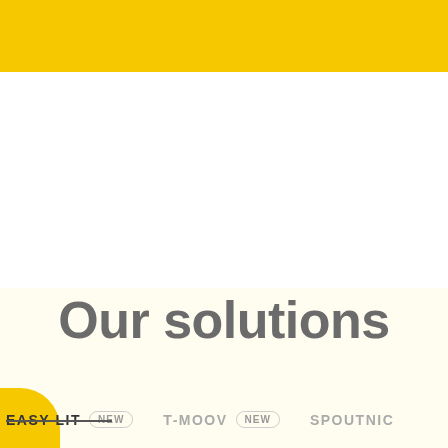[Figure (other): Yellow horizontal bar at the top of the page]
Our solutions
EASY-LIT  NEW    T-MOOV  NEW    SPOUTNIC